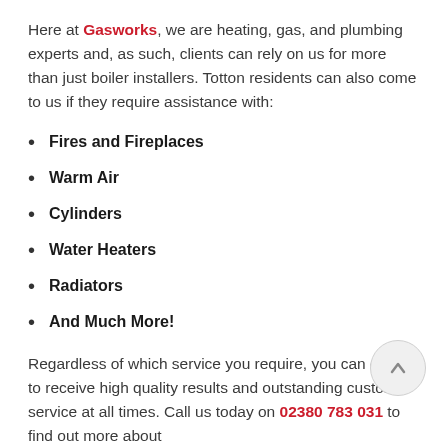Here at Gasworks, we are heating, gas, and plumbing experts and, as such, clients can rely on us for more than just boiler installers. Totton residents can also come to us if they require assistance with:
Fires and Fireplaces
Warm Air
Cylinders
Water Heaters
Radiators
And Much More!
Regardless of which service you require, you can expect to receive high quality results and outstanding customer service at all times. Call us today on 02380 783 031 to find out more about